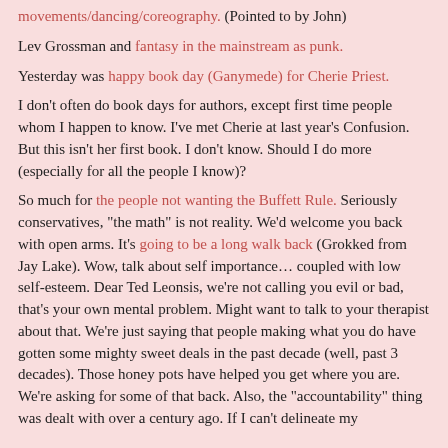movements/dancing/coreography. (Pointed to by John)
Lev Grossman and fantasy in the mainstream as punk.
Yesterday was happy book day (Ganymede) for Cherie Priest.
I don't often do book days for authors, except first time people whom I happen to know. I've met Cherie at last year's Confusion. But this isn't her first book. I don't know. Should I do more (especially for all the people I know)?
So much for the people not wanting the Buffett Rule. Seriously conservatives, "the math" is not reality. We'd welcome you back with open arms. It's going to be a long walk back (Grokked from Jay Lake). Wow, talk about self importance… coupled with low self-esteem. Dear Ted Leonsis, we're not calling you evil or bad, that's your own mental problem. Might want to talk to your therapist about that. We're just saying that people making what you do have gotten some mighty sweet deals in the past decade (well, past 3 decades). Those honey pots have helped you get where you are. We're asking for some of that back. Also, the "accountability" thing was dealt with over a century ago. If I can't delineate my